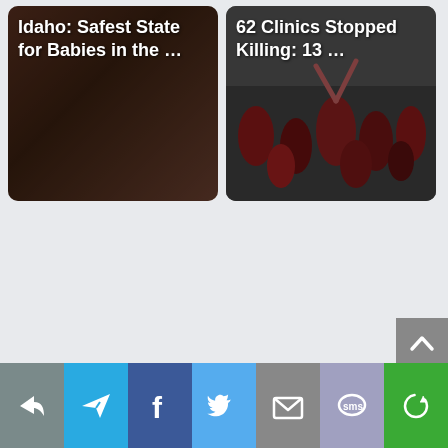[Figure (photo): Article thumbnail card with dark brownish background and white bold text overlay reading 'Idaho: Safest State for Babies in the ...']
[Figure (photo): Article thumbnail card with dark grayish background showing crowd image, with white bold text overlay reading '62 Clinics Stopped Killing: 13 ...']
[Figure (screenshot): Social sharing toolbar at bottom with icons: share/reply (gray), send/telegram (cyan), Facebook (dark blue), Twitter (light blue), email/envelope (gray), SMS (blue-gray), and circular arrow/refresh (green)]